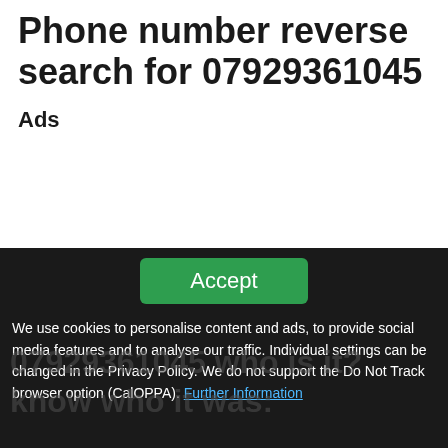Phone number reverse search for 07929361045
Ads
We use cookies to personalise content and ads, to provide social media features and to analyse our traffic. Individual settings can be changed in the Privacy Policy. We do not support the Do Not Track browser option (CalOPPA). Further Information